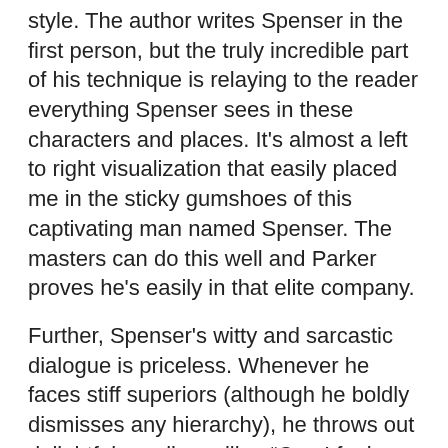style. The author writes Spenser in the first person, but the truly incredible part of his technique is relaying to the reader everything Spenser sees in these characters and places. It's almost a left to right visualization that easily placed me in the sticky gumshoes of this captivating man named Spenser. The masters can do this well and Parker proves he's easily in that elite company.
Further, Spenser's witty and sarcastic dialogue is priceless. Whenever he faces stiff superiors (although he boldly dismisses any hierarchy), he throws out delightful one-liners like, “Can I feel your muscle?” or his own profession's ridicule like, “The ones with phones are in the yellow pages under SLEUTH”. In some ways I can't help but think Spenser had an impact on Max Allan Collins' creation of the equally sarcastic Quarry or maybe how X-Files creator Chris Carter developed FBI